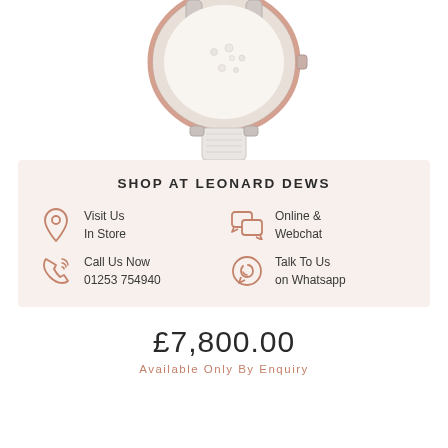[Figure (photo): Bottom portion of a luxury watch with white leather strap and rose gold/silver case with diamonds, shown against white background]
SHOP AT LEONARD DEWS
Visit Us
In Store
Online &
Webchat
Call Us Now
01253 754940
Talk To Us
on Whatsapp
£7,800.00
Available Only By Enquiry